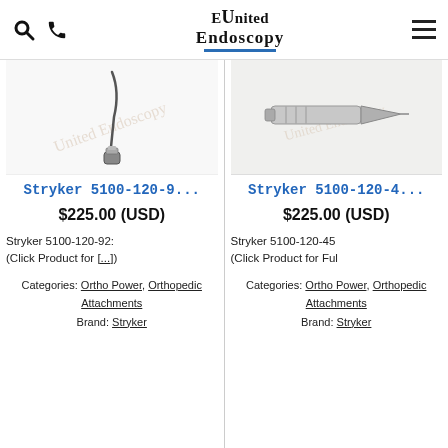United Endoscopy
[Figure (photo): Stryker 5100-120-92 endoscopy cable product photo on white background]
Stryker 5100-120-9...
$225.00 (USD)
Stryker 5100-120-92: (Click Product for [...])
Categories: Ortho Power, Orthopedic Attachments Brand: Stryker
[Figure (photo): Stryker 5100-120-45 pointed metal orthopedic attachment product photo on white background]
Stryker 5100-120-4...
$225.00 (USD)
Stryker 5100-120-45 (Click Product for Ful
Categories: Ortho Power, Orthopedic Attachments Brand: Stryker